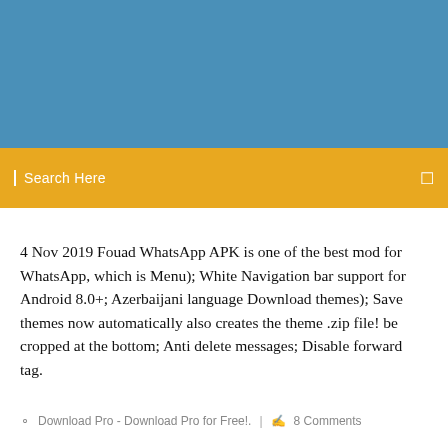[Figure (other): Blue header banner background]
Search Here
4 Nov 2019 Fouad WhatsApp APK is one of the best mod for WhatsApp, which is Menu); White Navigation bar support for Android 8.0+; Azerbaijani language Download themes); Save themes now automatically also creates the theme .zip file! be cropped at the bottom; Anti delete messages; Disable forward tag.
Download Pro - Download Pro for Free!.  |  8 Comments